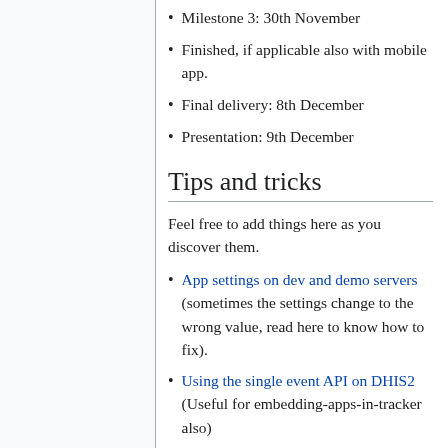Milestone 3: 30th November
Finished, if applicable also with mobile app.
Final delivery: 8th December
Presentation: 9th December
Tips and tricks
Feel free to add things here as you discover them.
App settings on dev and demo servers (sometimes the settings change to the wrong value, read here to know how to fix).
Using the single event API on DHIS2 (Useful for embedding-apps-in-tracker also)
This is Mobilars' example app. Based on Angular. Does a few